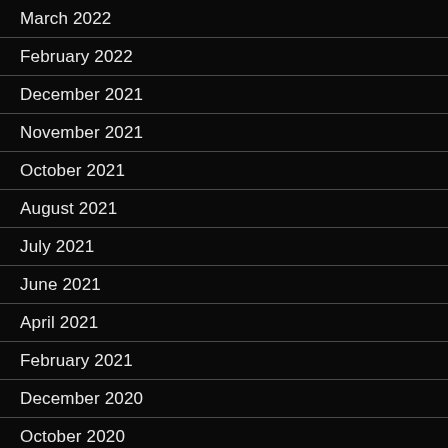March 2022
February 2022
December 2021
November 2021
October 2021
August 2021
July 2021
June 2021
April 2021
February 2021
December 2020
October 2020
August 2020